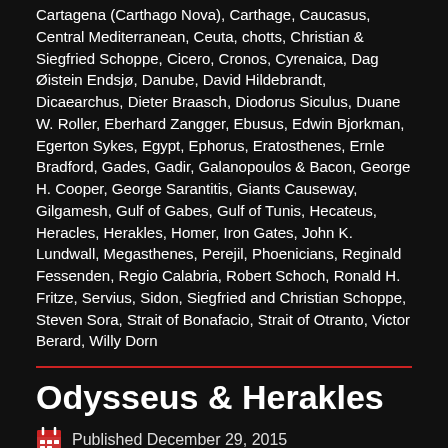Cartagena (Carthago Nova), Carthage, Caucasus, Central Mediterranean, Ceuta, chotts, Christian & Siegfried Schoppe, Cicero, Cronos, Cyrenaica, Dag Øistein Endsjø, Danube, David Hildebrandt, Dicaearchus, Dieter Braasch, Diodorus Siculus, Duane W. Roller, Eberhard Zangger, Ebusus, Edwin Bjorkman, Egerton Sykes, Egypt, Ephorus, Eratosthenes, Ernle Bradford, Gades, Gadir, Galanopoulos & Bacon, George H. Cooper, George Sarantitis, Giants Causeway, Gilgamesh, Gulf of Gabes, Gulf of Tunis, Hecateus, Heracles, Herakles, Homer, Iron Gates, John K. Lundwall, Megasthenes, Perejil, Phoenicians, Reginald Fessenden, Regio Calabria, Robert Schoch, Ronald H. Fritze, Servius, Sidon, Siegfried and Christian Schoppe, Steven Sora, Strait of Bonafacio, Strait of Otranto, Victor Berard, Willy Dorn
Odysseus & Herakles
Published December 29, 2015
Odysseus and Herakles are two of the best known heroes in Greek mythology, both of whom had one important common experience, they each had to endure a series of twelve tests. However, although different versions of the narratives are to be found with understandable variations in the detail, the two stories remain substantially the same.